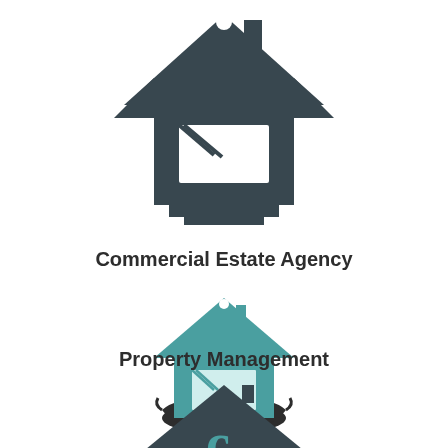[Figure (illustration): Dark slate-colored house/building icon representing a commercial estate agency]
Commercial Estate Agency
[Figure (illustration): Teal-colored house icon resting on a dark hand, representing property management]
Property Management
[Figure (illustration): Partially visible dark and teal house icon at the bottom of the page]